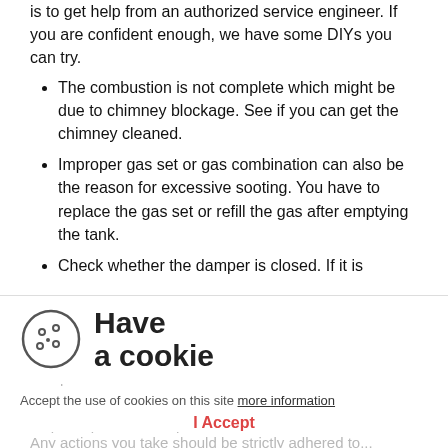is to get help from an authorized service engineer. If you are confident enough, we have some DIYs you can try.
The combustion is not complete which might be due to chimney blockage. See if you can get the chimney cleaned.
Improper gas set or gas combination can also be the reason for excessive sooting. You have to replace the gas set or refill the gas after emptying the tank.
Check whether the damper is closed. If it is
closed, open it fully. (faded)
Check whether the air mixture on the propane ... If yes, open it completely (faded)
The points listed before are the most ... (faded)
[Figure (illustration): Cookie consent popup with cookie icon and 'Have a cookie' heading]
Accept the use of cookies on this site more information
I Accept
Any actions you take should be strictly adhered to... (faded)